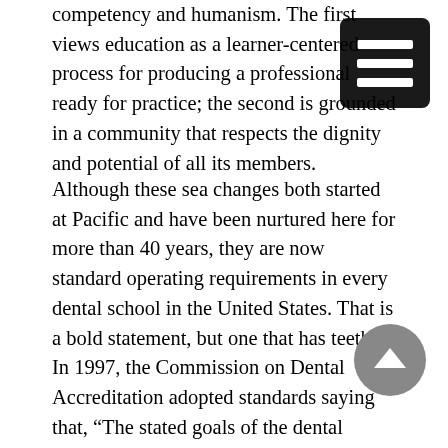competency and humanism. The first views education as a learner-centered process for producing a professional ready for practice; the second is grounded in a community that respects the dignity and potential of all its members.
Although these sea changes both started at Pacific and have been nurtured here for more than 40 years, they are now standard operating requirements in every dental school in the United States. That is a bold statement, but one that has teeth. In 1997, the Commission on Dental Accreditation adopted standards saying that, “The stated goals of the dental education program MUST be focused on education outcomes and define the competencies needed for graduation, including the preparation of graduates who possess the knowledge, skills and values to begin the practice of general dentistry [Standard 2-4].” The American Dental Education Association has